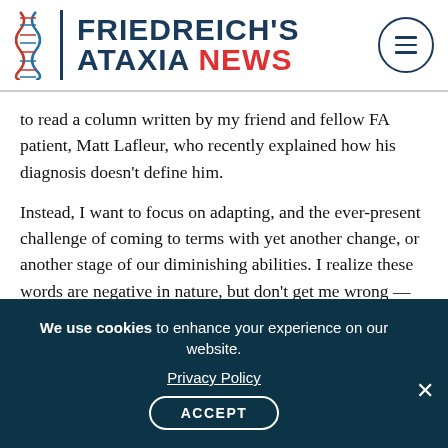FRIEDREICH'S ATAXIA NEWS
to read a column written by my friend and fellow FA patient, Matt Lafleur, who recently explained how his diagnosis doesn't define him.
Instead, I want to focus on adapting, and the ever-present challenge of coming to terms with yet another change, or another stage of our diminishing abilities. I realize these words are negative in nature, but don't get me wrong — just because something is hard or disheartening doesn't mean I can't find a way to move forward. There is no good excuse for allowing any challenge
We use cookies to enhance your experience on our website. Privacy Policy ACCEPT